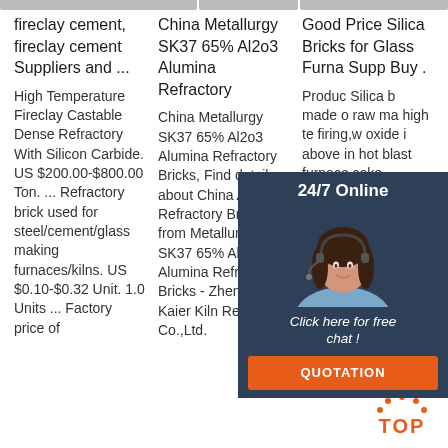fireclay cement, fireclay cement Suppliers and ...
High Temperature Fireclay Castable Dense Refractory With Silicon Carbide. US $200.00-$800.00 Ton. ... Refractory brick used for steel/cement/glass making furnaces/kilns. US $0.10-$0.32 Unit. 1.0 Units ... Factory price of
China Metallurgy SK37 65% Al2o3 Alumina Refractory
China Metallurgy SK37 65% Al2o3 Alumina Refractory Bricks, Find details about China Alumina Refractory Bricks from Metallurgy SK37 65% Al2o3 Alumina Refractory Bricks - ZhengZhou Kaier Kiln Refractory Co.,Ltd.
Good Price Silica Bricks for Glass Furnace Suppliers, Buy .
Products of Silica bricks are made of high-quality raw materials with high temperature firing,with SiO2 oxide in contents above 94%,applicable in hot blast furnace,coke oven,glass kiln,these bricks have good volume stability at high
[Figure (photo): Chat widget with woman wearing headset, '24/7 Online' header, 'Click here for free chat!' message, and orange QUOTATION button]
[Figure (other): Orange TOP button with dot arc decoration]